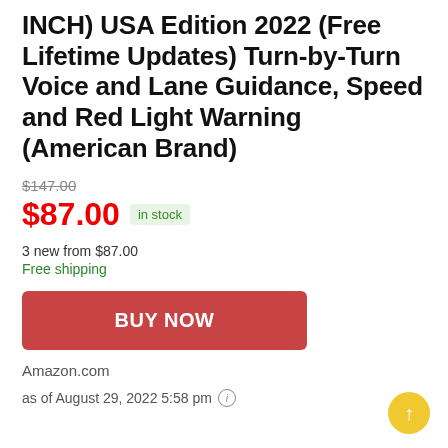INCH) USA Edition 2022 (Free Lifetime Updates) Turn-by-Turn Voice and Lane Guidance, Speed and Red Light Warning (American Brand)
$147.00
$87.00 in stock
3 new from $87.00
Free shipping
BUY NOW
Amazon.com
as of August 29, 2022 5:58 pm